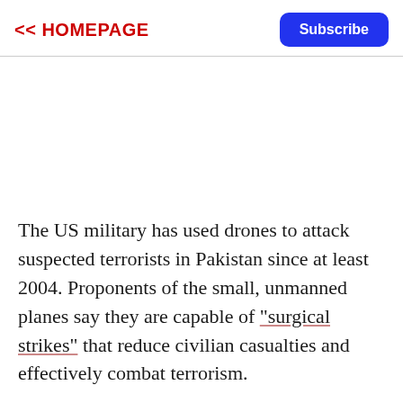<< HOMEPAGE
The US military has used drones to attack suspected terrorists in Pakistan since at least 2004. Proponents of the small, unmanned planes say they are capable of "surgical strikes" that reduce civilian casualties and effectively combat terrorism.